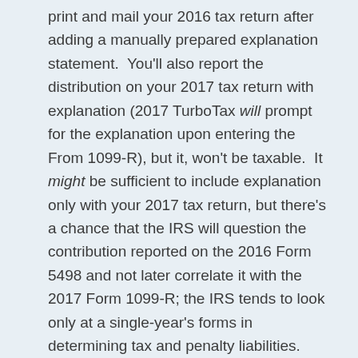print and mail your 2016 tax return after adding a manually prepared explanation statement.  You'll also report the distribution on your 2017 tax return with explanation (2017 TurboTax will prompt for the explanation upon entering the From 1099-R), but it, won't be taxable.  It might be sufficient to include explanation only with your 2017 tax return, but there's a chance that the IRS will question the contribution reported on the 2016 Form 5498 and not later correlate it with the 2017 Form 1099-R; the IRS tends to look only at a single-year's forms in determining tax and penalty liabilities.
If you instead requested a regular distribution, the 2017 Form 1099-R will have code J, T or Q in box 7.  A distribution made in this way is not recorded as correcting the excess under these circumstances.  However, since there is no gain or loss, it does meet